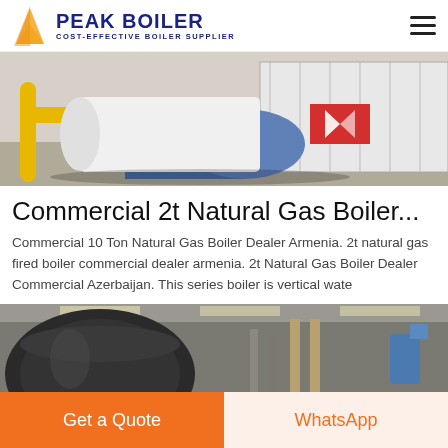PEAK BOILER COST-EFFECTIVE BOILER SUPPLIER
[Figure (photo): Industrial boiler equipment with yellow pipes and blue cylindrical components inside a white containerized unit with Chinese characters on a red plaque]
Commercial 2t Natural Gas Boiler...
Commercial 10 Ton Natural Gas Boiler Dealer Armenia. 2t natural gas fired boiler commercial dealer armenia. 2t Natural Gas Boiler Dealer Commercial Azerbaijan. This series boiler is vertical wate
[Figure (photo): Large dark industrial boiler tanks inside an industrial facility with overhead lighting and yellow equipment visible]